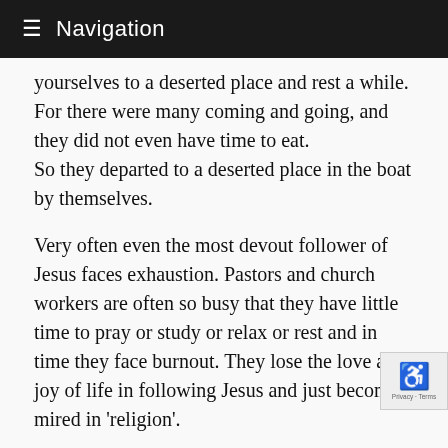≡ Navigation
yourselves to a deserted place and rest a while. For there were many coming and going, and they did not even have time to eat.
So they departed to a deserted place in the boat by themselves.
Very often even the most devout follower of Jesus faces exhaustion. Pastors and church workers are often so busy that they have little time to pray or study or relax or rest and in time they face burnout. They lose the love and joy of life in following Jesus and just become mired in 'religion'.
I have used a simple way to know when I am getting to fatigued and need rest. When I see someone co… me and I know they want to talk and I do not wan… talk or try to cut the conversion off early. Then I know I